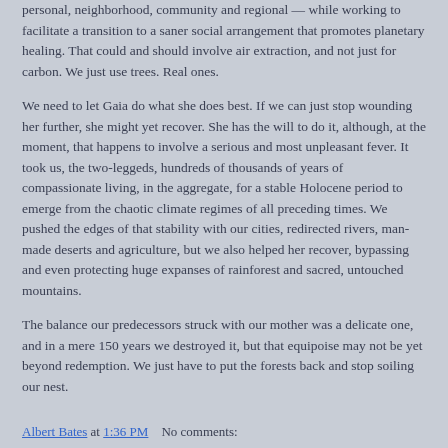personal, neighborhood, community and regional — while working to facilitate a transition to a saner social arrangement that promotes planetary healing. That could and should involve air extraction, and not just for carbon. We just use trees. Real ones.
We need to let Gaia do what she does best. If we can just stop wounding her further, she might yet recover. She has the will to do it, although, at the moment, that happens to involve a serious and most unpleasant fever. It took us, the two-leggeds, hundreds of thousands of years of compassionate living, in the aggregate, for a stable Holocene period to emerge from the chaotic climate regimes of all preceding times. We pushed the edges of that stability with our cities, redirected rivers, man-made deserts and agriculture, but we also helped her recover, bypassing and even protecting huge expanses of rainforest and sacred, untouched mountains.
The balance our predecessors struck with our mother was a delicate one, and in a mere 150 years we destroyed it, but that equipoise may not be yet beyond redemption. We just have to put the forests back and stop soiling our nest.
Albert Bates at 1:36 PM    No comments: